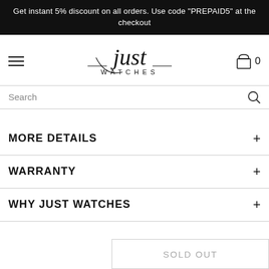Get instant 5% discount on all orders. Use code "PREPAID5" at the checkout
[Figure (logo): Just Watches cursive logo with WATCHES subtitle]
Search
MORE DETAILS
WARRANTY
WHY JUST WATCHES
SOLD OUT